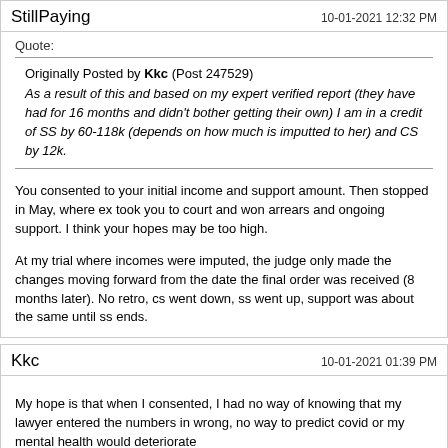StillPaying
10-01-2021 12:32 PM
Quote:
Originally Posted by Kkc (Post 247529)
As a result of this and based on my expert verified report (they have had for 16 months and didn't bother getting their own) I am in a credit of SS by 60-118k (depends on how much is imputted to her) and CS by 12k.
You consented to your initial income and support amount. Then stopped in May, where ex took you to court and won arrears and ongoing support. I think your hopes may be too high.
At my trial where incomes were imputed, the judge only made the changes moving forward from the date the final order was received (8 months later). No retro, cs went down, ss went up, support was about the same until ss ends.
Kkc
10-01-2021 01:39 PM
My hope is that when I consented, I had no way of knowing that my lawyer entered the numbers in wrong, no way to predict covid or my mental health would deteriorate
It was all without prejudice as well, worse case if no retro is given I